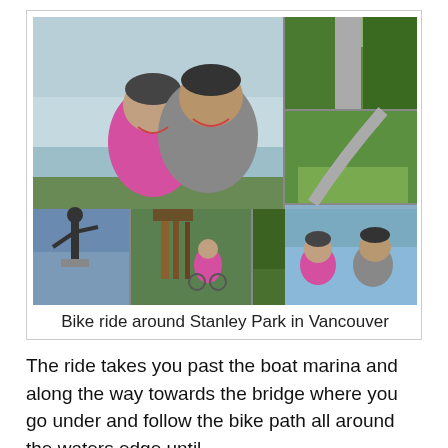[Figure (photo): Photo collage of a bike ride around Stanley Park in Vancouver. Large main photo shows two cyclists (a woman in pink jacket and a man in grey) smiling, with Vancouver marina and skyline in background. Smaller photos show: a tree-lined path, a park path with greenery, two cyclists on a path by the water with city skyline, a bronze statue of a runner by the water, a woman in pink jacket with a bike near totem poles, a forested bike path, and a selfie of two cyclists by the water.]
Bike ride around Stanley Park in Vancouver
The ride takes you past the boat marina and along the way towards the bridge where you go under and follow the bike path all around the waters edge until